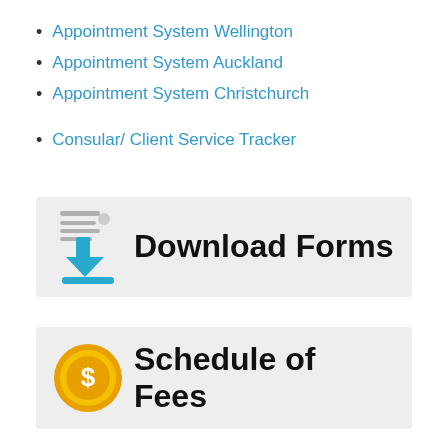Appointment System Wellington
Appointment System Auckland
Appointment System Christchurch
Consular/ Client Service Tracker
[Figure (infographic): Download Forms banner with a blue download arrow icon on grey background and bold text 'Download Forms']
[Figure (infographic): Schedule of Fees banner with a gold coin dollar sign icon on grey background and bold text 'Schedule of Fees']